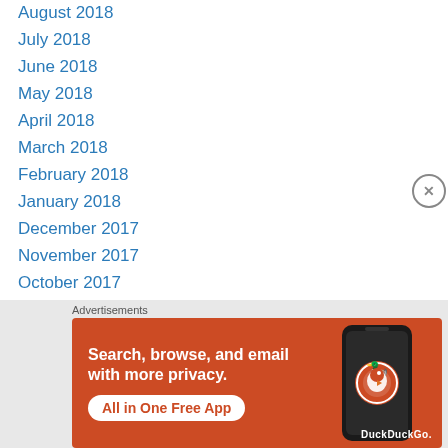August 2018
July 2018
June 2018
May 2018
April 2018
March 2018
February 2018
January 2018
December 2017
November 2017
October 2017
September 2017
August 2017
July 2017
[Figure (illustration): DuckDuckGo advertisement banner with orange background. Text: 'Search, browse, and email with more privacy. All in One Free App' with DuckDuckGo logo and phone illustration.]